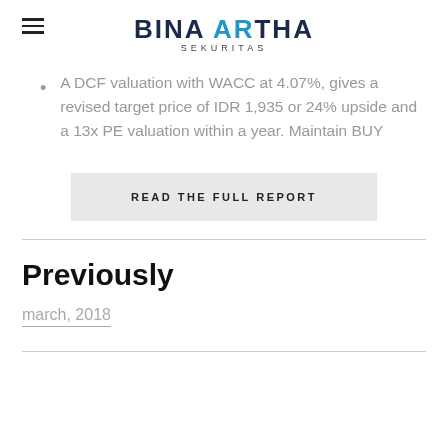BINA ARTHA SEKURITAS
A DCF valuation with WACC at 4.07%, gives a revised target price of IDR 1,935 or 24% upside and a 13x PE valuation within a year. Maintain BUY
READ THE FULL REPORT
Previously
march, 2018